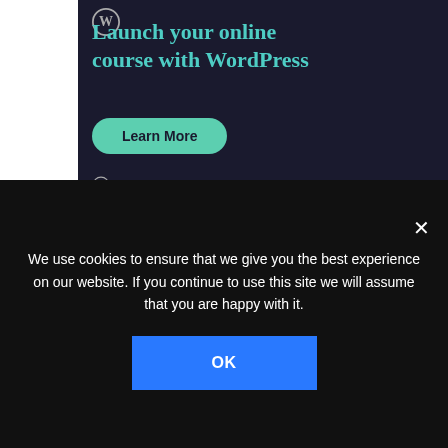[Figure (screenshot): WordPress.com advertisement banner with dark background. Shows WordPress logo, heading 'Launch your online course with WordPress', a teal 'Learn More' button, and 'Powered by WordPress.com' text at the bottom.]
REPORT THIS AD
Share this:
[Figure (screenshot): Row of social sharing icon circles (red, light blue, dark blue, light gray, medium gray, dark gray)]
We use cookies to ensure that we give you the best experience on our website. If you continue to use this site we will assume that you are happy with it.
OK